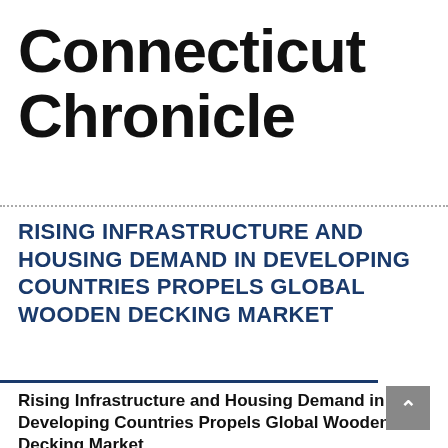Connecticut Chronicle
RISING INFRASTRUCTURE AND HOUSING DEMAND IN DEVELOPING COUNTRIES PROPELS GLOBAL WOODEN DECKING MARKET
Rising Infrastructure and Housing Demand in Developing Countries Propels Global Wooden Decking Market